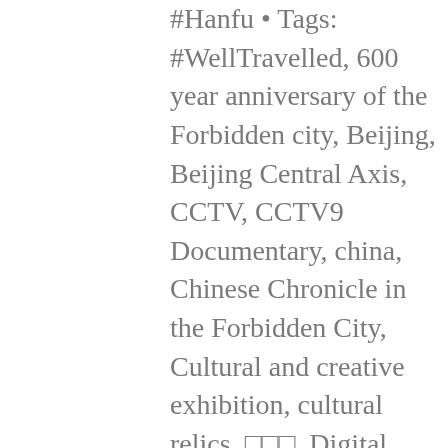#Hanfu • Tags: #WellTravelled, 600 year anniversary of the Forbidden city, Beijing, Beijing Central Axis, CCTV, CCTV9 Documentary, china, Chinese Chronicle in the Forbidden City, Cultural and creative exhibition, cultural relics, 故宫一, Digital Forbidden City, fashion, fashion look book, Forbidden city, Forbidden City architecture, Forbidden city artworks, Forbidden City books, Forbidden City Diary, Forbidden city gardens, Forbidden City gates, Forbidden city Memories, forbidden city moments, Forbidden City Paintings, Forbidden city palace halls, Forbidden city press, Forbidden city Relics, forbidden city snow, Forbidden City Store, Forbidden city stories, Make IT China, Make it China Think China, Masters in Forbidden City, Ming Dynasty, Ming Dynasty Architecture, Ming Dynasty Artworks, Ming Dynasty clothing, Ming Dynasty Paintings, People's Republic of China, Qing Dynasty,